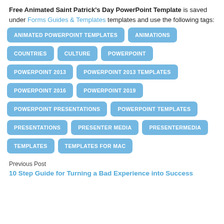Free Animated Saint Patrick's Day PowerPoint Template is saved under Forms Guides & Templates templates and use the following tags:
ANIMATED POWERPOINT TEMPLATES
ANIMATIONS
COUNTRIES
CULTURE
POWERPOINT
POWERPOINT 2013
POWERPOINT 2013 TEMPLATES
POWERPOINT 2016
POWERPOINT 2019
POWERPOINT PRESENTATIONS
POWERPOINT TEMPLATES
PRESENTATIONS
PRESENTER MEDIA
PRESENTERMEDIA
TEMPLATES
TEMPLATES FOR MAC
Previous Post
10 Step Guide for Turning a Bad Experience into Success